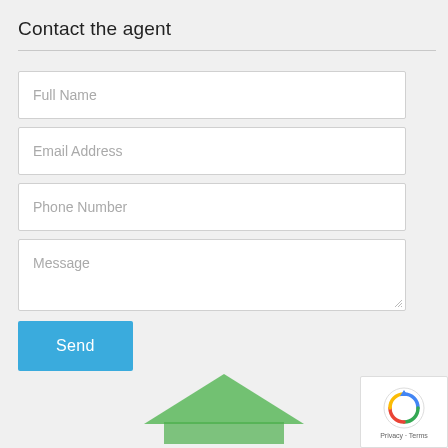Contact the agent
Full Name
Email Address
Phone Number
Message
Send
[Figure (illustration): Green house illustration at bottom of page]
[Figure (logo): reCAPTCHA badge with Privacy and Terms links]